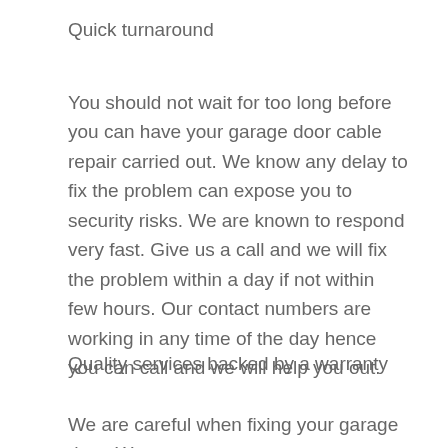Quick turnaround
You should not wait for too long before you can have your garage door cable repair carried out. We know any delay to fix the problem can expose you to security risks. We are known to respond very fast. Give us a call and we will fix the problem within a day if not within few hours. Our contact numbers are working in any time of the day hence you can call and we will help you out.
Quality services backed by a warranty
We are careful when fixing your garage door. We